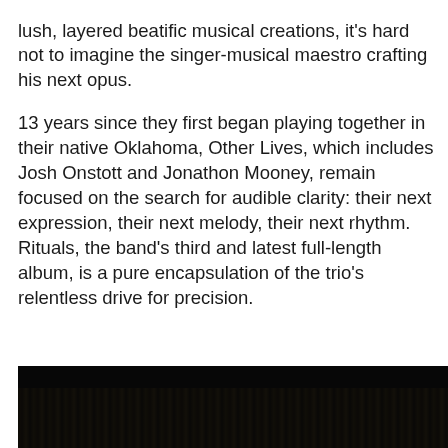lush, layered beatific musical creations, it's hard not to imagine the singer-musical maestro crafting his next opus.
13 years since they first began playing together in their native Oklahoma, Other Lives, which includes Josh Onstott and Jonathon Mooney, remain focused on the search for audible clarity: their next expression, their next melody, their next rhythm. Rituals, the band's third and latest full-length album, is a pure encapsulation of the trio's relentless drive for precision.
[Figure (photo): Dark photograph, mostly black, showing indistinct figures or landscape at the bottom of the page]